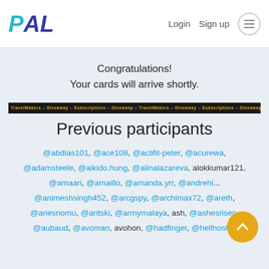[Figure (logo): PAL logo with P in cyan and AL in dark blue, italic bold text]
Login   Sign up  ☰
Congratulations!
Your cards will arrive shortly.
[Figure (infographic): Dark banner with orange repeating text: TravelMakers – Giveaway – Subscriptions – Giveaway – TravelMakers – Giveaway – Subscriptions – Giveaway – TravelMakers – Giveaway – Subscriptions – Giveaway – TravelMakers – Giveaway]
Previous participants
@abdias101, @ace108, @actifit-peter, @acurewa, @adamsteele, @aikido.hung, @alinalazareva, alokkumar121, @amaari, @amaillo, @amanda.yrr, @andrehi..., @animeshsingh452, @arcgspy, @archimax72, @areth, @ariesnomu, @aritski, @armymalaya, ash, @ashesrisen, @aubaud, @avoman, avohon, @hadfinger, @hellhosing